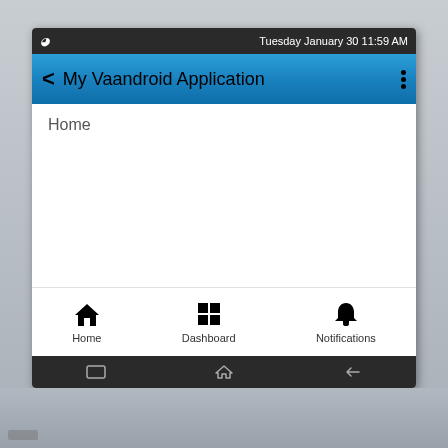Tuesday January 30 11:59 AM
My Vaandroid Application
Home
[Figure (screenshot): Android mobile application screenshot showing a status bar with time 'Tuesday January 30 11:59 AM', a blue action bar titled 'My Vaandroid Application' with back arrow and overflow menu, a white content area with 'Home' label, a bottom navigation bar with Home, Dashboard, and Notifications icons, and an Android system navigation bar at the bottom.]